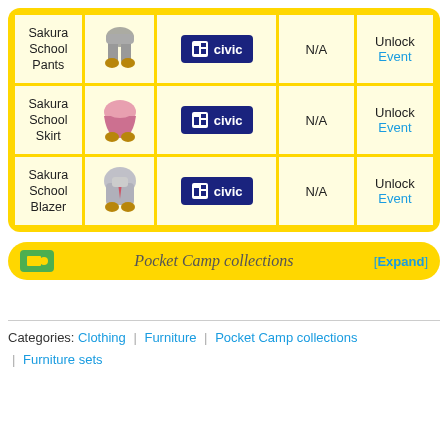| Name | Image | Source | Value | Unlock |
| --- | --- | --- | --- | --- |
| Sakura School Pants | [image] | civic | N/A | Unlock Event |
| Sakura School Skirt | [image] | civic | N/A | Unlock Event |
| Sakura School Blazer | [image] | civic | N/A | Unlock Event |
Pocket Camp collections [Expand]
Categories: Clothing | Furniture | Pocket Camp collections | Furniture sets